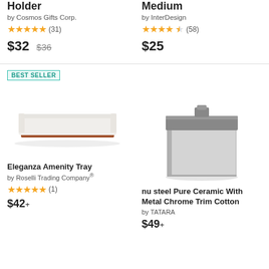Holder
by Cosmos Gifts Corp.
★★★★★ (31)
$32 $36
Medium
by InterDesign
★★★★½ (58)
$25
BEST SELLER
[Figure (photo): White ceramic amenity tray with terracotta/brown base]
[Figure (photo): Gray square ceramic jar with metal chrome lid]
Eleganza Amenity Tray
by Roselli Trading Company®
★★★★★ (1)
nu steel Pure Ceramic With Metal Chrome Trim Cotton
by TATARA
$42+
$49+